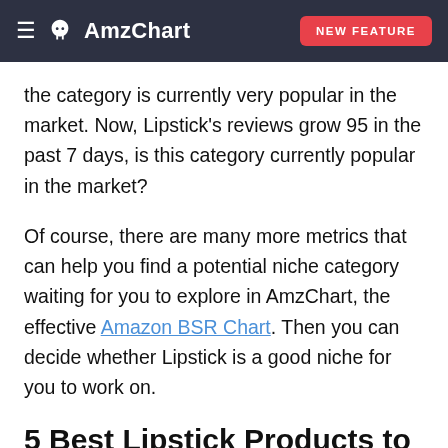≡ AmzChart  NEW FEATURE
the category is currently very popular in the market. Now, Lipstick's reviews grow 95 in the past 7 days, is this category currently popular in the market?
Of course, there are many more metrics that can help you find a potential niche category waiting for you to explore in AmzChart, the effective Amazon BSR Chart. Then you can decide whether Lipstick is a good niche for you to work on.
5 Best Lipstick Products to Sell on